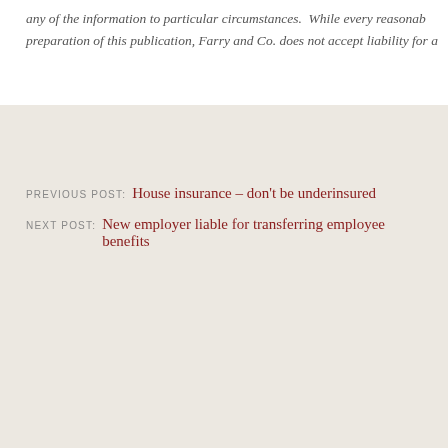any of the information to particular circumstances.  While every reasonab preparation of this publication, Farry and Co. does not accept liability for a
PREVIOUS POST: House insurance – don't be underinsured
NEXT POST: New employer liable for transferring employee benefits